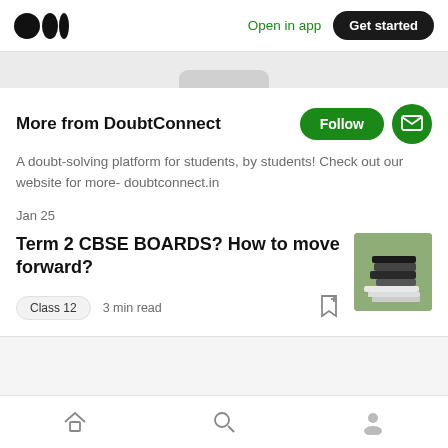Medium logo | Open in app | Get started
More from DoubtConnect
A doubt-solving platform for students, by students! Check out our website for more- doubtconnect.in
Jan 25
Term 2 CBSE BOARDS? How to move forward?
Class 12   3 min read
[Figure (photo): Thumbnail image of stacked books/binders on a wooden surface]
Share your ideas with millions of readers
Home | Search | Profile